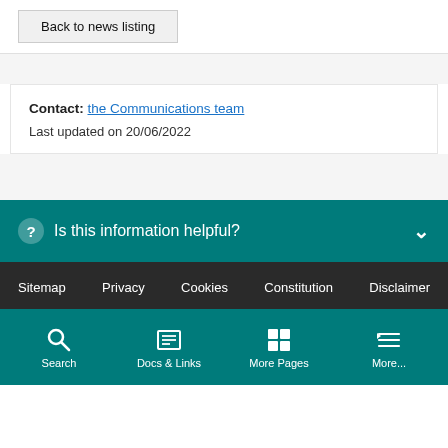Back to news listing
Contact: the Communications team
Last updated on 20/06/2022
Is this information helpful?
Sitemap  Privacy  Cookies  Constitution  Disclaimer
Search  Docs & Links  More Pages  More...